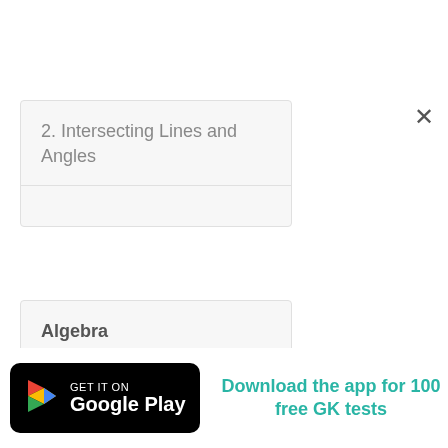2. Intersecting Lines and Angles
Algebra
[Figure (screenshot): Google Play Store badge with 'GET IT ON Google Play' text]
Download the app for 100 free GK tests